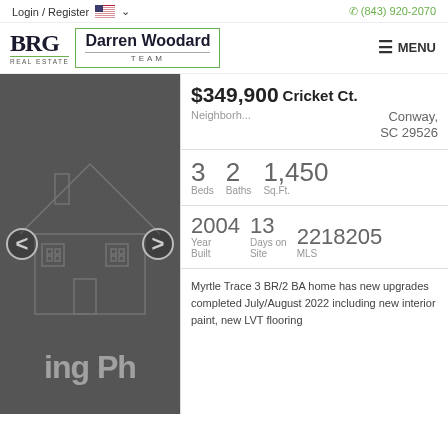Login / Register   (843) 920-2070
[Figure (logo): BRG Real Estate - Darren Woodard Team logo with menu button]
[Figure (photo): Dark gray house illustration/placeholder with navigation arrows, showing partial text 'ing Ph']
$349,900
Cricket Ct.
Neighborh...
Conway, SC 29526
3 Beds  2 Baths  1,450 Sq.Ft.
2004 Year Built  13 Days on Site  2218205 MLS
Myrtle Trace 3 BR/2 BA home has new upgrades completed July/August 2022 including new interior paint, new LVT flooring